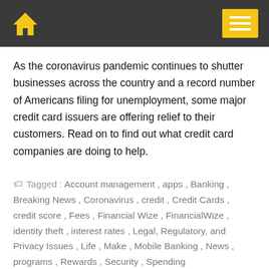Home / Menu
As the coronavirus pandemic continues to shutter businesses across the country and a record number of Americans filing for unemployment, some major credit card issuers are offering relief to their customers. Read on to find out what credit card companies are doing to help.
Tagged : Account management , apps , Banking , Breaking News , Coronavirus , credit , Credit Cards , credit score , Fees , Financial Wize , FinancialWize , identity theft , interest rates , Legal, Regulatory, and Privacy Issues , Life , Make , Mobile Banking , News , programs , Rewards , Security , Spending